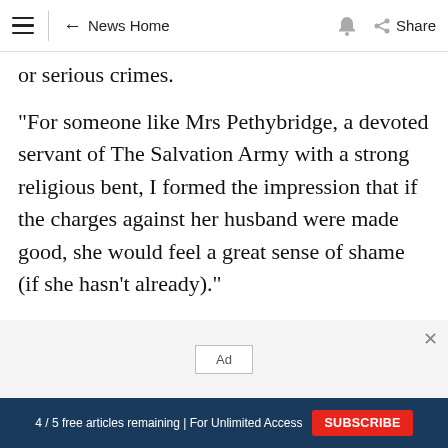≡ ← News Home 🔔 Share
or serious crimes.
"For someone like Mrs Pethybridge, a devoted servant of The Salvation Army with a strong religious bent, I formed the impression that if the charges against her husband were made good, she would feel a great sense of shame (if she hasn't already)."
Australian Associated Press
[Figure (other): Advertisement placeholder box labeled 'Ad']
4 / 5 free articles remaining | For Unlimited Access SUBSCRIBE